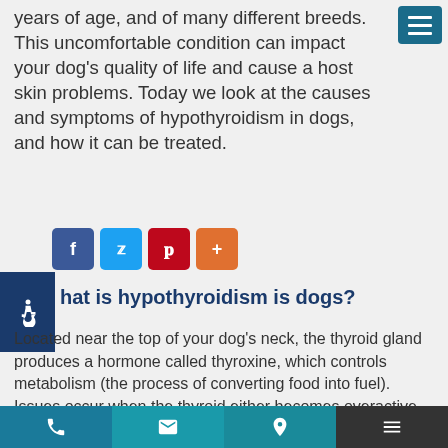years of age, and of many different breeds. This uncomfortable condition can impact your dog's quality of life and cause a host skin problems. Today we look at the causes and symptoms of hypothyroidism in dogs, and how it can be treated.
[Figure (infographic): Social share buttons: Facebook (blue), Twitter (light blue), Pinterest (red), plus/share (orange)]
What is hypothyroidism is dogs?
Located near the top of your dog's neck, the thyroid gland produces a hormone called thyroxine, which controls metabolism (the process of converting food into fuel). Issues occur when the thyroid either becomes overactive (hyperthyroidism) or under-active (hypothyroidism). If your dog is suffering from hypothyroidism it means that
[Figure (infographic): Bottom navigation bar with phone, email, map/location, and menu icons on teal and dark grey background]